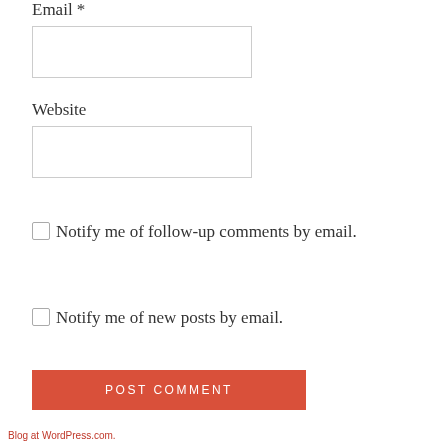Email *
[Figure (other): Empty text input box for Email field]
Website
[Figure (other): Empty text input box for Website field]
Notify me of follow-up comments by email.
Notify me of new posts by email.
POST COMMENT
Blog at WordPress.com.